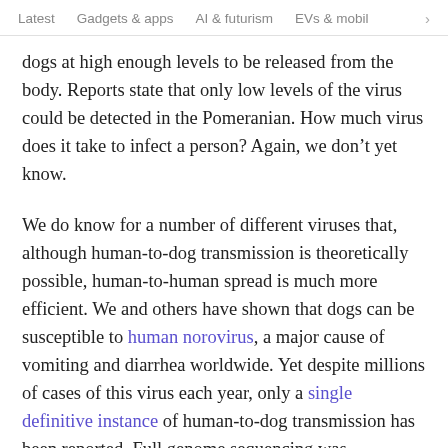Latest   Gadgets & apps   AI & futurism   EVs & mobil >
dogs at high enough levels to be released from the body. Reports state that only low levels of the virus could be detected in the Pomeranian. How much virus does it take to infect a person? Again, we don't yet know.
We do know for a number of different viruses that, although human-to-dog transmission is theoretically possible, human-to-human spread is much more efficient. We and others have shown that dogs can be susceptible to human norovirus, a major cause of vomiting and diarrhea worldwide. Yet despite millions of cases of this virus each year, only a single definitive instance of human-to-dog transmission has been reported. Full genome sequencing was